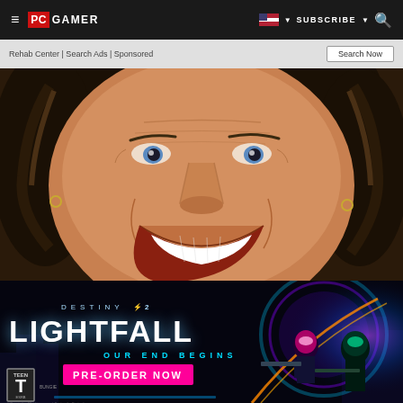PC GAMER | SUBSCRIBE | Search
Rehab Center | Search Ads | Sponsored
Search Now
[Figure (photo): Close-up face of a smiling middle-aged man with tanned skin, dark hair with highlights, earrings, prominent smile/teeth]
[Figure (screenshot): Destiny 2 Lightfall game advertisement. Text reads: DESTINY 2, LIGHTFALL, OUR END BEGINS, PRE-ORDER NOW. TEEN ESRB rating, Bungie logo. Two armored characters with weapons on futuristic city background with glowing portal.]